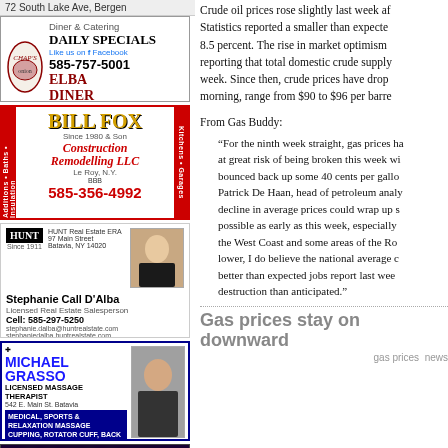72 South Lake Ave, Bergen
[Figure (illustration): Chap's Elba Diner advertisement: Diner & Catering, DAILY SPECIALS, Like us on Facebook, 585-757-5001, 5 So. Main St. Elba]
[Figure (illustration): Bill Fox & Son Construction Remodelling LLC advertisement with red borders, orange logo text, 585-356-4992, Le Roy NY]
[Figure (illustration): HUNT Real Estate ERA - Stephanie Call D'Alba, Licensed Real Estate Salesperson, Cell: 585-297-5250]
[Figure (illustration): Michael Grasso Licensed Massage Therapist, 542 E. Main St. Batavia, Medical Sports & Relaxation Massage, Cupping, Rotator Cuff, Back & Neck Pain, Cell: 585-356-2350, Bus Ph: 585-343-5311]
[Figure (illustration): Fox Bowl Collectibles advertisement with green neon text on dark background]
Crude oil prices rose slightly last week after the American Petroleum Institute and Energy Information Statistics reported a smaller than expected draw of crude oil inventories, resulting in a rise in crude oil 8.5 percent. The rise in market optimism was short-lived, however, with the EIA shortly after reporting that total domestic crude supply had actually increased by 5.9 million barrels during the week. Since then, crude prices have dropped once again and crude oil futures, as of this morning, range from $90 to $96 per barrel.
From Gas Buddy:
“For the ninth week straight, gas prices have fallen, though this streak is at great risk of being broken this week with oil prices having bounced back up some 40 cents per gallon in the last few weeks. Patrick De Haan, head of petroleum analysis for GasBuddy, said the decline in average prices could wrap up soon. ‘The trend could end possible as early as this week, especially for states on the West Coast and some areas of the Rocky Mountains. While prices may go lower, I do believe the national average could rise modestly, given the better than expected jobs report last week and a hurricane causing less destruction than anticipated.’”
Gas prices stay on downward
gas prices  news